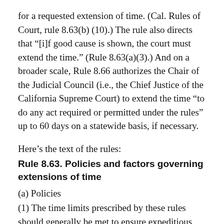for a requested extension of time. (Cal. Rules of Court, rule 8.63(b) (10).) The rule also directs that "[i]f good cause is shown, the court must extend the time." (Rule 8.63(a)(3).) And on a broader scale, Rule 8.66 authorizes the Chair of the Judicial Council (i.e., the Chief Justice of the California Supreme Court) to extend the time "to do any act required or permitted under the rules" up to 60 days on a statewide basis, if necessary.
Here’s the text of the rules:
Rule 8.63. Policies and factors governing extensions of time
(a) Policies
(1) The time limits prescribed by these rules should generally be met to ensure expeditious conduct of appellate business and public confidence in the efficient administration of appellate justice.
(2) The effective assistance of counsel to which a party is